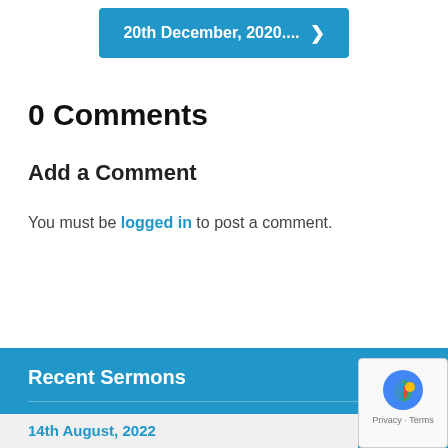20th December, 2020.... >
0 Comments
Add a Comment
You must be logged in to post a comment.
Recent Sermons
14th August, 2022